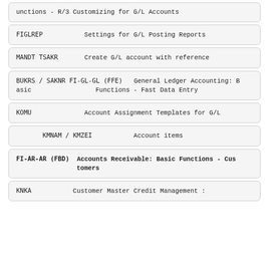unctions - R/3 Customizing for G/L Accounts
FIGLREP    Settings for G/L Posting Reports
MANDT TSAKR    Create G/L account with reference
BUKRS / SAKNR FI-GL-GL (FFE)    General Ledger Accounting: Basic Functions - Fast Data Entry
KOMU    Account Assignment Templates for G/L
KMNAM / KMZEI    Account items
FI-AR-AR (FBD)    Accounts Receivable: Basic Functions - Customers
KNKA    Customer Master Credit Management :